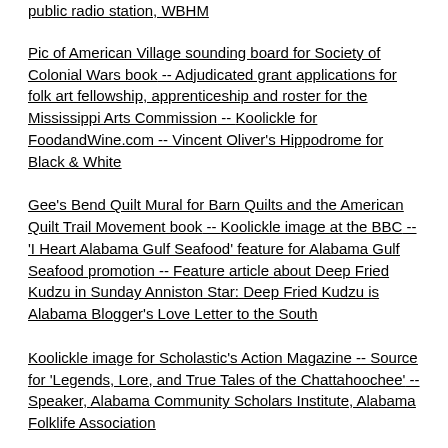public radio station, WBHM
Pic of American Village sounding board for Society of Colonial Wars book -- Adjudicated grant applications for folk art fellowship, apprenticeship and roster for the Mississippi Arts Commission -- Koolickle for FoodandWine.com -- Vincent Oliver's Hippodrome for Black & White
Gee's Bend Quilt Mural for Barn Quilts and the American Quilt Trail Movement book -- Koolickle image at the BBC -- 'I Heart Alabama Gulf Seafood' feature for Alabama Gulf Seafood promotion -- Feature article about Deep Fried Kudzu in Sunday Anniston Star: Deep Fried Kudzu is Alabama Blogger's Love Letter to the South
Koolickle image for Scholastic's Action Magazine -- Source for 'Legends, Lore, and True Tales of the Chattahoochee' -- Speaker, Alabama Community Scholars Institute, Alabama Folklife Association